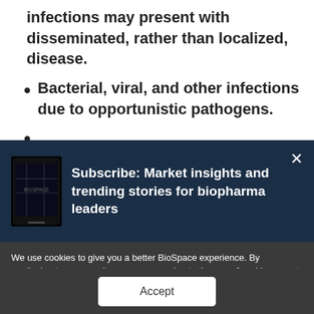infections may present with disseminated, rather than localized, disease.
Bacterial, viral, and other infections due to opportunistic pathogens.
(partial, cut off)
[Figure (screenshot): Subscribe popup with dark navy background showing a phone image and text: Subscribe: Market insights and trending stories for biopharma leaders, with a close (×) button]
We use cookies to give you a better BioSpace experience. By continuing to use our site, you are agreeing to the use of cookies as set in our Privacy Policy.
Accept